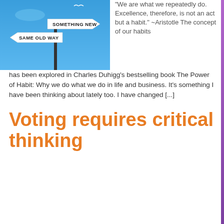[Figure (photo): Road sign post with two signs against a blue sky: 'SAME OLD WAY' pointing left and 'SOMETHING NEW' pointing right, with a bird in flight above.]
"We are what we repeatedly do. Excellence, therefore, is not an act but a habit." ~Aristotle The concept of our habits has been explored in Charles Duhigg's bestselling book The Power of Habit: Why we do what we do in life and business. It's something I have been thinking about lately too. I have changed [...]
Voting requires critical thinking